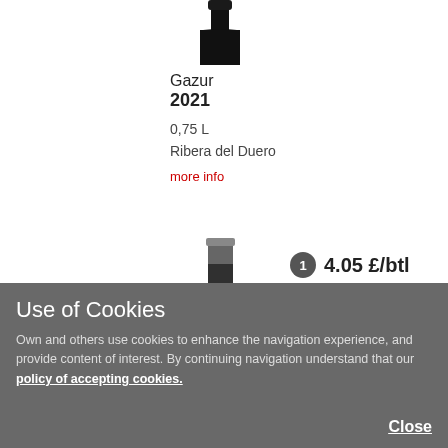[Figure (photo): Top portion of a dark wine bottle]
Gazur
2021
0,75 L
Ribera del Duero
more info
[Figure (photo): Full wine bottle with glarima label]
1  4.05 £/btl
6  3.69 £/btl
Units:
— 6 +
Use of Cookies
Own and others use cookies to enhance the navigation experience, and provide content of interest. By continuing navigation understand that our policy of accepting cookies.
Close